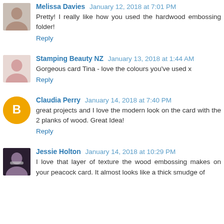Melissa Davies January 12, 2018 at 7:01 PM
Pretty! I really like how you used the hardwood embossing folder!
Reply
Stamping Beauty NZ January 13, 2018 at 1:44 AM
Gorgeous card Tina - love the colours you've used x
Reply
Claudia Perry January 14, 2018 at 7:40 PM
great projects and I love the modern look on the card with the 2 planks of wood. Great Idea!
Reply
Jessie Holton January 14, 2018 at 10:29 PM
I love that layer of texture the wood embossing makes on your peacock card. It almost looks like a thick smudge of